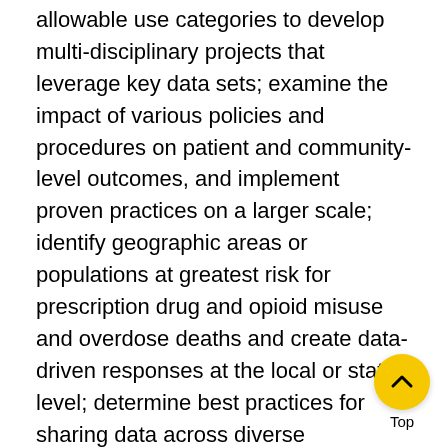allowable use categories to develop multi-disciplinary projects that leverage key data sets; examine the impact of various policies and procedures on patient and community-level outcomes, and implement proven practices on a larger scale; identify geographic areas or populations at greatest risk for prescription drug and opioid misuse and overdose deaths and create data-driven responses at the local or state level; determine best practices for sharing data across diverse stakeholders; implement other innovative activities that demonstrate a multi-disciplinary, data-driven approach to addressing the opioid epidemic and assess the impact of specific policy or practice changes on PDMP utilization and/or patient or community-level outcomes.
Missouri ranked 14th in the rate of opioid pain